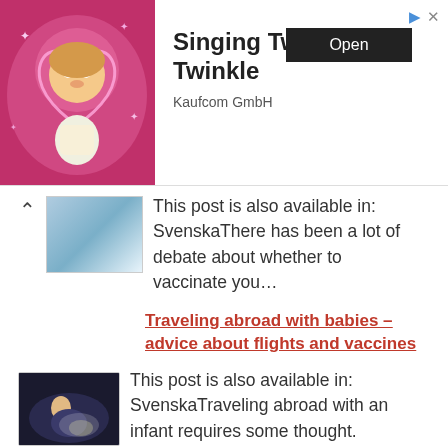[Figure (photo): Animated baby character with halo on pink sparkly background - ad banner for Singing Twinkle Twinkle app]
Singing Twinkle Twinkle
Kaufcom GmbH
This post is also available in: SvenskaThere has been a lot of debate about whether to vaccinate you…
Traveling abroad with babies – advice about flights and vaccines
[Figure (photo): Baby being breastfed on an airplane in low lighting]
This post is also available in: SvenskaTraveling abroad with an infant requires some thought.